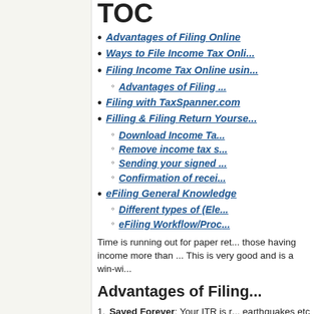TOC (partial heading visible)
Advantages of Filing Online
Ways to File Income Tax Onli...
Filing Income Tax Online usin...
Advantages of Filing...
Filing with TaxSpanner.com
Filling & Filing Return Yourself
Download Income Ta...
Remove income tax s...
Sending your signed...
Confirmation of recei...
eFiling General Knowledge
Different types of (Ele...
eFiling Workflow/Proc...
Time is running out for paper ret... those having income more than ... This is very good and is a win-wi...
Advantages of Filing...
1. Saved Forever: Your ITR is r... earthquakes etc
2. Accuracy: Electronic returns... private sites offering E-filing) ...